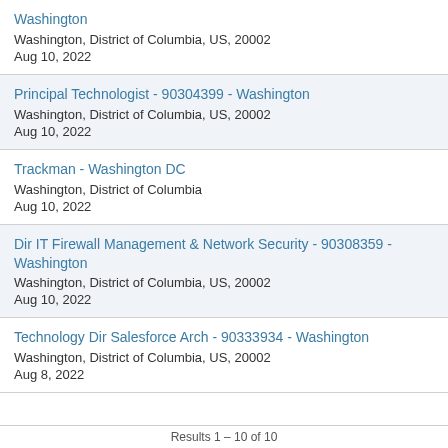Washington
Washington, District of Columbia, US, 20002
Aug 10, 2022
Principal Technologist - 90304399 - Washington
Washington, District of Columbia, US, 20002
Aug 10, 2022
Trackman - Washington DC
Washington, District of Columbia
Aug 10, 2022
Dir IT Firewall Management & Network Security - 90308359 - Washington
Washington, District of Columbia, US, 20002
Aug 10, 2022
Technology Dir Salesforce Arch - 90333934 - Washington
Washington, District of Columbia, US, 20002
Aug 8, 2022
Results 1 – 10 of 10